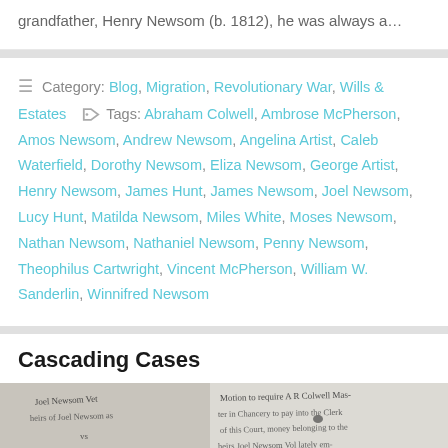grandfather, Henry Newsom (b. 1812), he was always a…
Category: Blog, Migration, Revolutionary War, Wills & Estates   Tags: Abraham Colwell, Ambrose McPherson, Amos Newsom, Andrew Newsom, Angelina Artist, Caleb Waterfield, Dorothy Newsom, Eliza Newsom, George Artist, Henry Newsom, James Hunt, James Newsom, Joel Newsom, Lucy Hunt, Matilda Newsom, Miles White, Moses Newsom, Nathan Newsom, Nathaniel Newsom, Penny Newsom, Theophilus Cartwright, Vincent McPherson, William W. Sanderlin, Winnifred Newsom
Cascading Cases
[Figure (photo): Scanned handwritten historical document showing cursive text referencing Joel Newsom, A R Colwell, and legal proceedings in chancery.]